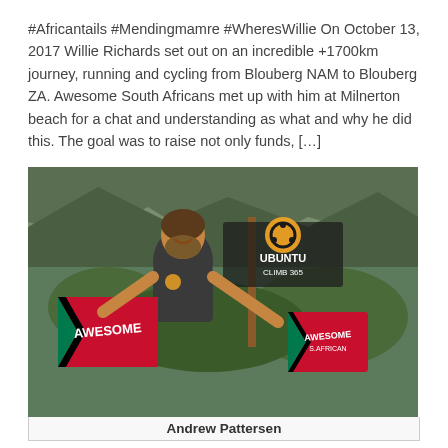#Africantails #Mendingmamre #WheresWillie On October 13, 2017 Willie Richards set out on an incredible +1700km journey, running and cycling from Blouberg NAM to Blouberg ZA. Awesome South Africans met up with him at Milnerton beach for a chat and understanding as what and why he did this. The goal was to raise not only funds, […]
[Figure (photo): A man smiling and holding two 'Awesome South African' flags with South African flag design in front of an Ubuntu Climb 365 sign with rocky mountain background. Caption reads 'Andrew Pattersen'.]
Andrew Pattersen
Andrew Pattersen views: 4005
Andrew Pattersen – aka – Renaissance Guy has decided that for every day in 2018, he is going to climb Table Mountain . His